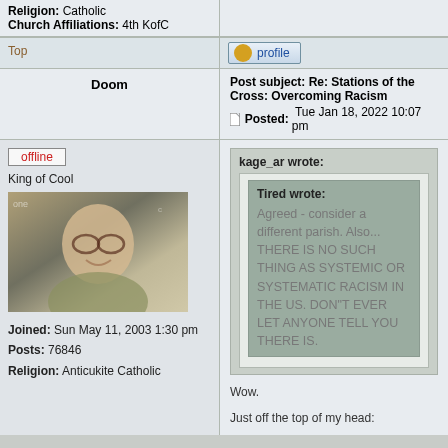Religion: Catholic
Church Affiliations: 4th KofC
Top
[Figure (screenshot): Profile button with user icon]
Doom
Post subject: Re: Stations of the Cross: Overcoming Racism
Posted: Tue Jan 18, 2022 10:07 pm
offline
King of Cool
[Figure (photo): Avatar photo of elderly man smiling with sunglasses]
Joined: Sun May 11, 2003 1:30 pm
Posts: 76846
Religion: Anticukite Catholic
kage_ar wrote:
Tired wrote:
Agreed - consider a different parish. Also... THERE IS NO SUCH THING AS SYSTEMIC OR SYSTEMATIC RACISM IN THE US. DON"T EVER LET ANYONE TELL YOU THERE IS.
Wow.
Just off the top of my head: